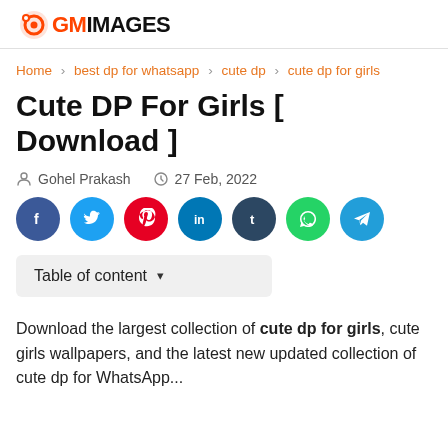GMIMAGES
Home > best dp for whatsapp > cute dp > cute dp for girls
Cute DP For Girls [ Download ]
Gohel Prakash  27 Feb, 2022
[Figure (infographic): Social media share buttons: Facebook, Twitter, Pinterest, LinkedIn, Tumblr, WhatsApp, Telegram]
Table of content
Download the largest collection of cute dp for girls, cute girls wallpapers, and the latest new updated collection of cute dp for WhatsApp...